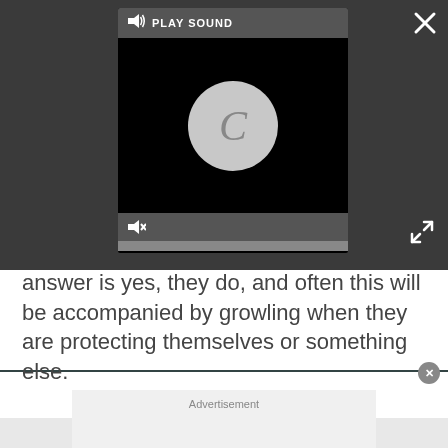[Figure (screenshot): Dark overlay with embedded media player showing a loading spinner, play sound button, mute button, progress bar, close X button, and expand button.]
answer is yes, they do, and often this will be accompanied by growling when they are protecting themselves or something else.
[Figure (screenshot): Advertisement placeholder box with grey background and 'Advertisement' label.]